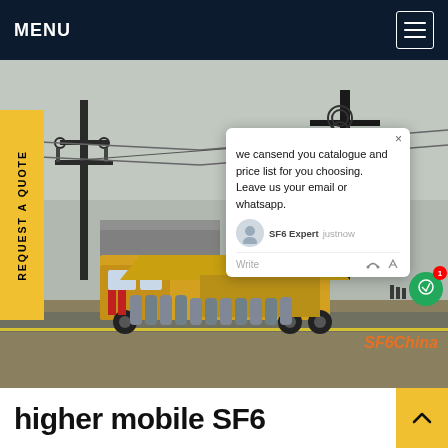MENU
[Figure (photo): Outdoor electrical substation with high-voltage towers and a yellow mobile SF6 gas service truck with cylinders, overlaid with a chat popup and SF6China watermark.]
REQUEST A QUOTE
we cansend you catalogue and price list for you choosing. Leave us your email or whatsapp.
SF6 Expert   justnow
Write
SF6China
higher mobile SF6